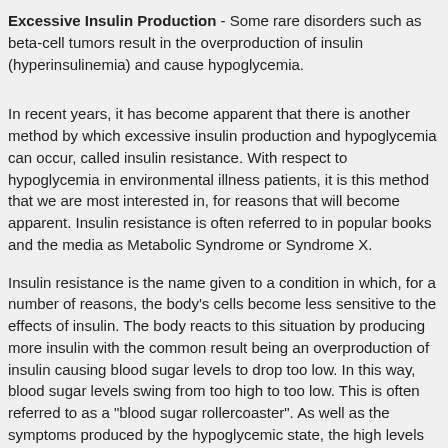Excessive Insulin Production - Some rare disorders such as beta-cell tumors result in the overproduction of insulin (hyperinsulinemia) and cause hypoglycemia.
In recent years, it has become apparent that there is another method by which excessive insulin production and hypoglycemia can occur, called insulin resistance. With respect to hypoglycemia in environmental illness patients, it is this method that we are most interested in, for reasons that will become apparent. Insulin resistance is often referred to in popular books and the media as Metabolic Syndrome or Syndrome X.
Insulin resistance is the name given to a condition in which, for a number of reasons, the body's cells become less sensitive to the effects of insulin. The body reacts to this situation by producing more insulin with the common result being an overproduction of insulin causing blood sugar levels to drop too low. In this way, blood sugar levels swing from too high to too low. This is often referred to as a "blood sugar rollercoaster". As well as the symptoms produced by the hypoglycemic state, the high levels of insulin themselves can have serious health consequences in the long term. The underlying mechanism by which